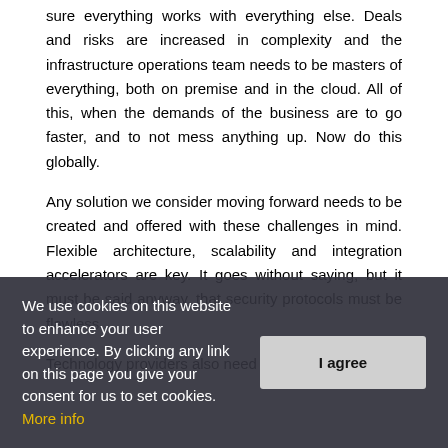sure everything works with everything else. Deals and risks are increased in complexity and the infrastructure operations team needs to be masters of everything, both on premise and in the cloud. All of this, when the demands of the business are to go faster, and to not mess anything up. Now do this globally.
Any solution we consider moving forward needs to be created and offered with these challenges in mind. Flexible architecture, scalability and integration accelerators are key. It goes without saying, but it must be said anyway, that security protocols must be flawless.
Technology providers also need to evolve. Nobody
We use cookies on this website to enhance your user experience. By clicking any link on this page you give your consent for us to set cookies. More info